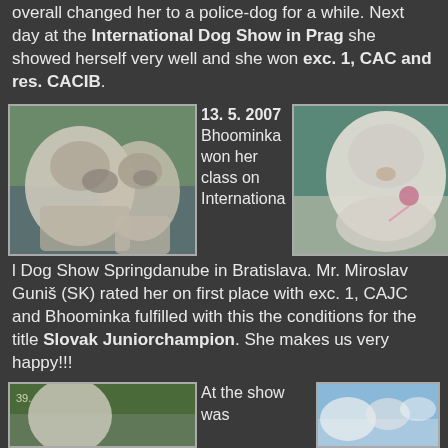overall changed her to a police-dog for a while. Next day at the International Dog Show in Prag she showed herself very well and she won exc. 1, CAC and res. CACIB.
[Figure (photo): Two shaggy white and grey Old English Sheepdogs standing outdoors near a pool area]
13. 5. 2007 Bhoominka won her class on International Dog Show Springdanube in Bratislava. Mr. Miroslav Guniš (SK) rated her on first place with exc. 1, CAJC and Bhoominka fulfilled with this the conditions for the title Slovak Juniorchampion. She makes us very happy!!!
[Figure (photo): A fluffy white Old English Sheepdog sitting outdoors near water and rocks, wearing a medal]
[Figure (photo): Partial view of a dog photo in bottom left, with greenery background]
At the show was
[Figure (photo): Partial view of a photo with blue sky and clouds]